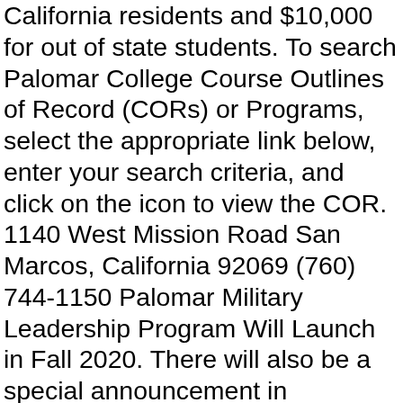California residents and $10,000 for out of state students. To search Palomar College Course Outlines of Record (CORs) or Programs, select the appropriate link below, enter your search criteria, and click on the icon to view the COR. 1140 West Mission Road San Marcos, California 92069 (760) 744-1150 Palomar Military Leadership Program Will Launch in Fall 2020. There will also be a special announcement in Masson's honor. 38 0 obj <>/Filter/FlateDecode/ID[<25F20687EE129F544E43F285D04C <4F1BF6E1FEC6424AA6F11F905A2E3B15>]/Index[14 45]/Info 13 0 R/Length 116/Prev 104083/Root 15 0 R/Size 59/Type/XRef/W[1 3 1]>>stream Any other website containing information about Palomar College athletics is not sanctioned by the Palomar Community College District and therefore may not contain accurate information. Installing the Microsoft SQL Server BI stack. The Telescope Weekly Podcast: No. 1 PALOMAR COLLEGE Design and Manufacturing Technologies Department- Nutrition Fall, 2020 NUTR 185/BIOL 185: Science